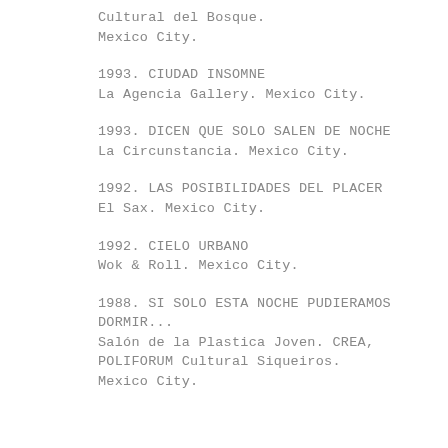Cultural del Bosque.
Mexico City.
1993. CIUDAD INSOMNE
La Agencia Gallery. Mexico City.
1993. DICEN QUE SOLO SALEN DE NOCHE
La Circunstancia. Mexico City.
1992. LAS POSIBILIDADES DEL PLACER
El Sax. Mexico City.
1992. CIELO URBANO
Wok & Roll. Mexico City.
1988. SI SOLO ESTA NOCHE PUDIERAMOS DORMIR...
Salón de la Plastica Joven. CREA, POLIFORUM Cultural Siqueiros.
Mexico City.